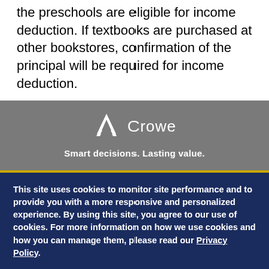the preschools are eligible for income deduction. If textbooks are purchased at other bookstores, confirmation of the principal will be required for income deduction.
[Figure (logo): Crowe logo with mountain/chevron icon in white on gray background, with tagline 'Smart decisions. Lasting value.' below]
This site uses cookies to monitor site performance and to provide you with a more responsive and personalized experience. By using this site, you agree to our use of cookies. For more information on how we use cookies and how you can manage them, please read our Privacy Policy.